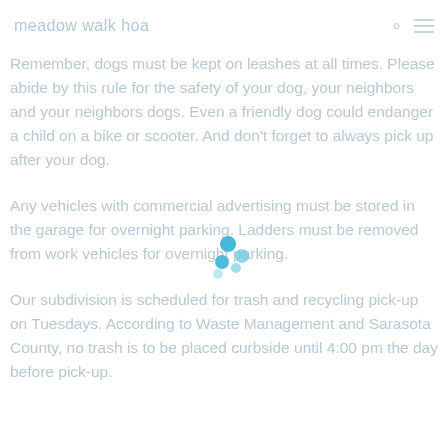meadow walk hoa
Remember, dogs must be kept on leashes at all times. Please abide by this rule for the safety of your dog, your neighbors and your neighbors dogs. Even a friendly dog could endanger a child on a bike or scooter. And don't forget to always pick up after your dog.
Any vehicles with commercial advertising must be stored in the garage for overnight parking. Ladders must be removed from work vehicles for overnight parking.
Our subdivision is scheduled for trash and recycling pick-up on Tuesdays. According to Waste Management and Sarasota County, no trash is to be placed curbside until 4:00 pm the day before pick-up.